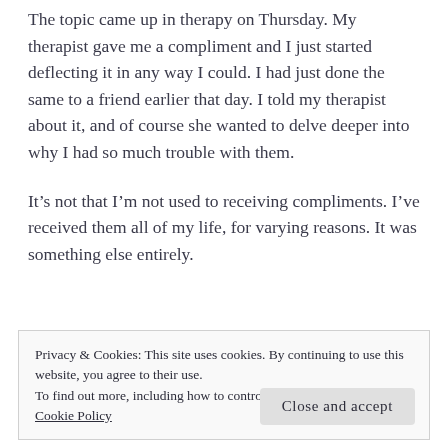The topic came up in therapy on Thursday. My therapist gave me a compliment and I just started deflecting it in any way I could. I had just done the same to a friend earlier that day. I told my therapist about it, and of course she wanted to delve deeper into why I had so much trouble with them.
It’s not that I’m not used to receiving compliments. I’ve received them all of my life, for varying reasons. It was something else entirely.
[partial line obscured by cookie banner]
Privacy & Cookies: This site uses cookies. By continuing to use this website, you agree to their use.
To find out more, including how to control cookies, see here: Cookie Policy